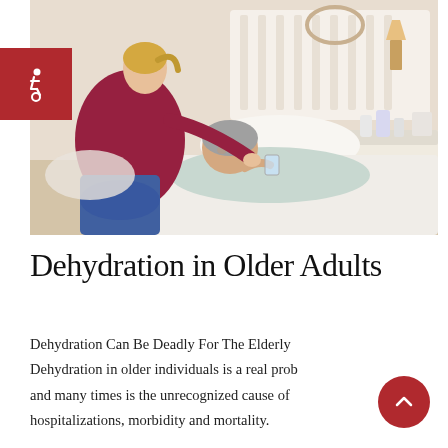[Figure (photo): A young female caregiver in a dark red/maroon top helping an elderly gray-haired woman lying in bed drink from a glass of water. Bedside table with medications visible in background.]
Dehydration in Older Adults
Dehydration Can Be Deadly For The Elderly Dehydration in older individuals is a real problem and many times is the unrecognized cause of hospitalizations, morbidity and mortality.